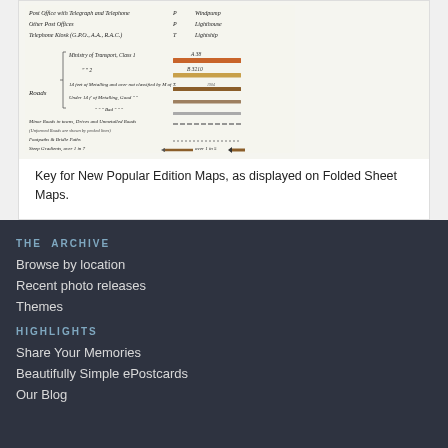[Figure (illustration): Map key for New Popular Edition Maps showing symbols for roads (Ministry of Transport Class 1 A38, Class 2 B3210, metalled/unmetalled roads, footpaths, bridle paths), steep gradients, post offices, telephone kiosks, lighthouses and lightships.]
Key for New Popular Edition Maps, as displayed on Folded Sheet Maps.
THE ARCHIVE
Browse by location
Recent photo releases
Themes
HIGHLIGHTS
Share Your Memories
Beautifully Simple ePostcards
Our Blog